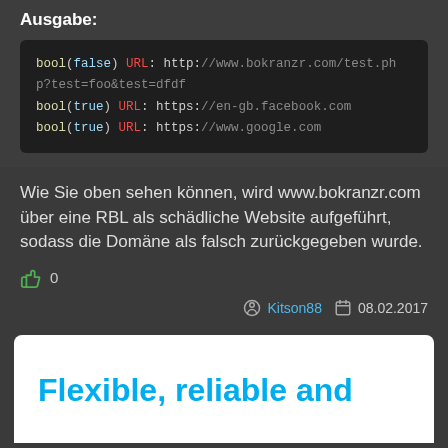Ausgabe:
[Figure (screenshot): Code block showing PHP var_dump output: bool(false) URL: http://www.bokranzr.com/test.php?test=foo&test=dfdf, bool(true) URL: https://en-gb.facebook.com, bool(true) URL: https://www.google.com]
Wie Sie oben sehen können, wird www.bokranzr.com über eine RBL als schädliche Website aufgeführt, sodass die Domäne als falsch zurückgegeben wurde.
0
Kitson88   08.02.2017
Flexible, reliable and